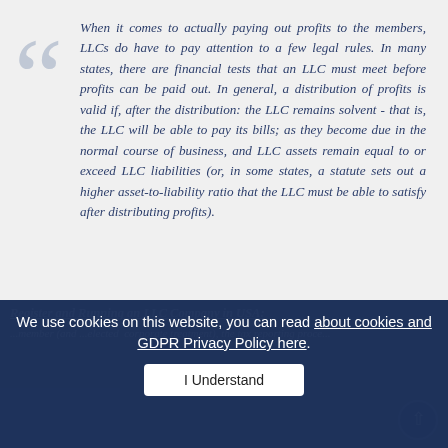When it comes to actually paying out profits to the members, LLCs do have to pay attention to a few legal rules. In many states, there are financial tests that an LLC must meet before profits can be paid out. In general, a distribution of profits is valid if, after the distribution: the LLC remains solvent - that is, the LLC will be able to pay its bills; as they become due in the normal course of business, and LLC assets remain equal to or exceed LLC liabilities (or, in some states, a statute sets out a higher asset-to-liability ratio that the LLC must be able to satisfy after distributing profits).
Register and Running an LLC Company in USA:
We use cookies on this website, you can read about cookies and GDPR Privacy Policy here
I Understand
...member (and ...elected corporate treatment), the tax reporting proce...